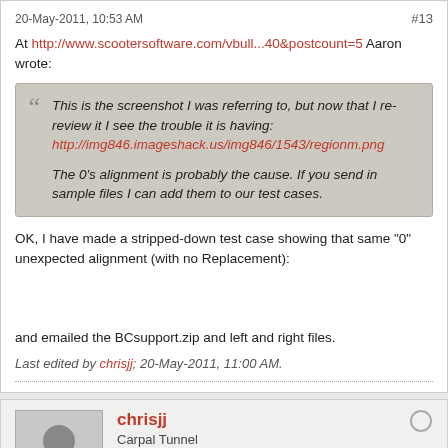20-May-2011, 10:53 AM   #13
At http://www.scootersoftware.com/vbull...40&postcount=5 Aaron wrote:
This is the screenshot I was referring to, but now that I re-review it I see the trouble it is having: http://img846.imageshack.us/img846/1543/regionm.png

The 0's alignment is probably the cause. If you send in sample files I can add them to our test cases.
OK, I have made a stripped-down test case showing that same "0" unexpected alignment (with no Replacement):
and emailed the BCsupport.zip and left and right files.
Last edited by chrisjj; 20-May-2011, 11:00 AM.
chrisjj
Carpal Tunnel
Join Date: Apr 2008   Posts: 2422